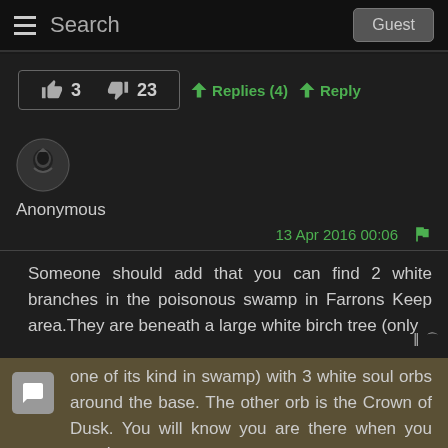☰  Search   Guest
👍 3   👎 23   ➤Replies (4)   ➤Reply
[Figure (photo): Anonymous user avatar - dark circular avatar with knight/warrior icon]
Anonymous
13 Apr 2016 00:06  🚩
Someone should add that you can find 2 white branches in the poisonous swamp in Farrons Keep area.They are beneath a large white birch tree (only one of its kind in swamp) with 3 white soul orbs around the base. The other orb is the Crown of Dusk. You will know you are there when you see the